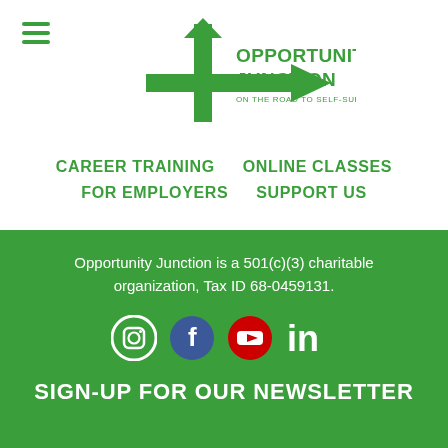[Figure (logo): Opportunity Junction logo with green arrow cross and text 'OPPORTUNITY JUNCTION - ON THE ROAD TO SELF-SUFFICIENCY']
CAREER TRAINING
ONLINE CLASSES
FOR EMPLOYERS
SUPPORT US
Opportunity Junction is a 501(c)(3) charitable organization, Tax ID 68-0459131.
[Figure (infographic): Social media icons: Instagram, Facebook, YouTube, LinkedIn]
SIGN-UP FOR OUR NEWSLETTER